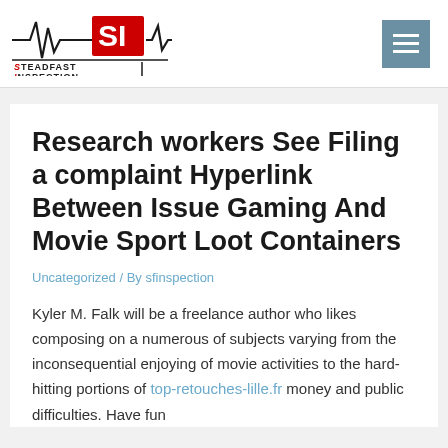[Figure (logo): Steadfast Inspection logo with heartbeat line graphic and red SI letters]
Research workers See Filing a complaint Hyperlink Between Issue Gaming And Movie Sport Loot Containers
Uncategorized / By sfinspection
Kyler M. Falk will be a freelance author who likes composing on a numerous of subjects varying from the inconsequential enjoying of movie activities to the hard-hitting portions of top-retouches-lille.fr money and public difficulties. Have fun